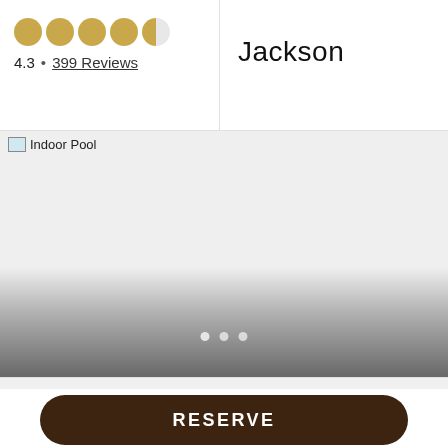4.3 • 399 Reviews
Jackson
[Figure (photo): Indoor Pool image placeholder with gradient overlay and carousel dots]
RESERVE